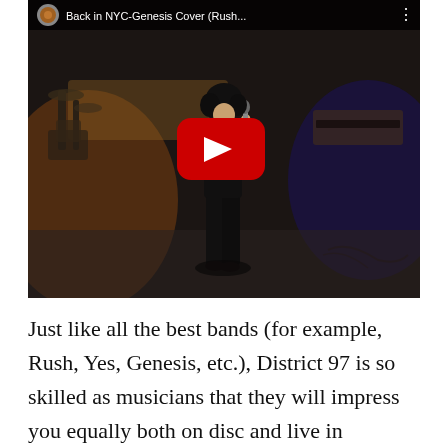[Figure (screenshot): YouTube video thumbnail showing a performer on stage playing a flute, with a red YouTube play button overlay and the video title 'Back in NYC-Genesis Cover (Rush...' in the top bar]
Just like all the best bands (for example, Rush, Yes, Genesis, etc.), District 97 is so skilled as musicians that they will impress you equally both on disc and live in